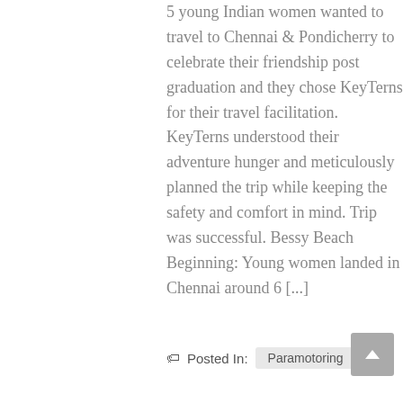5 young Indian women wanted to travel to Chennai & Pondicherry to celebrate their friendship post graduation and they chose KeyTerns for their travel facilitation. KeyTerns understood their adventure hunger and meticulously planned the trip while keeping the safety and comfort in mind. Trip was successful. Bessy Beach Beginning: Young women landed in Chennai around 6 [...]
Posted In: Paramotoring